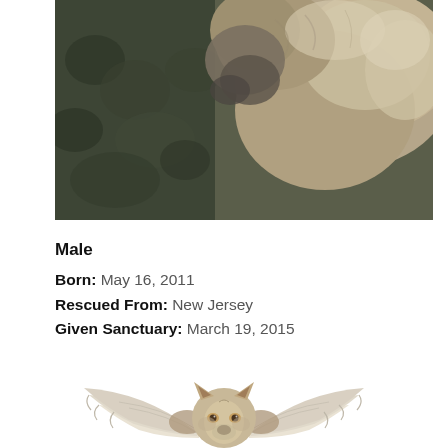[Figure (photo): Close-up photograph of a wolf or large canine, showing fur and partial face/neck, with dark foliage in the background. The animal appears to be light brown/gray colored.]
Male
Born: May 16, 2011
Rescued From: New Jersey
Given Sanctuary: March 19, 2015
[Figure (illustration): Illustration of a wolf face with angel wings spreading to the sides, centered at the bottom of the page. The wolf has gray/tan fur and the wings are detailed with feathers.]